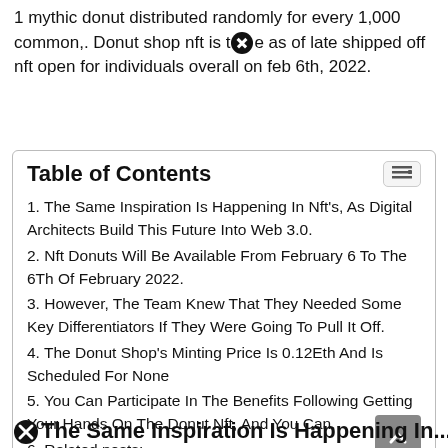1 mythic donut distributed randomly for every 1,000 common,. Donut shop nft is the as of late shipped off nft open for individuals overall on feb 6th, 2022.
Table of Contents
1. The Same Inspiration Is Happening In Nft's, As Digital Architects Build This Future Into Web 3.0.
2. Nft Donuts Will Be Available From February 6 To The 6Th Of February 2022.
3. However, The Team Knew That They Needed Some Key Differentiators If They Were Going To Pull It Off.
4. The Donut Shop's Minting Price Is 0.12Eth And Is Scheduled For None
5. You Can Participate In The Benefits Following Getting Your Hands On The Donut Nft, And You Can.
6. Related posts:
The Same Inspiration Is Happening In...